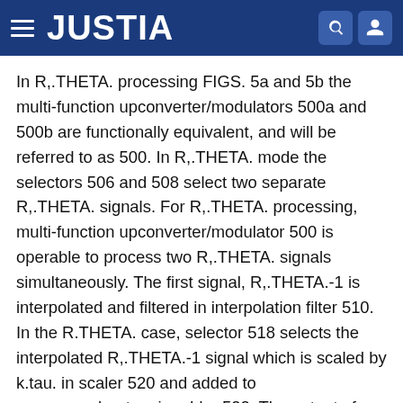JUSTIA
In R,.THETA. processing FIGS. 5a and 5b the multi-function upconverter/modulators 500a and 500b are functionally equivalent, and will be referred to as 500. In R,.THETA. mode the selectors 506 and 508 select two separate R,.THETA. signals. For R,.THETA. processing, multi-function upconverter/modulator 500 is operable to process two R,.THETA. signals simultaneously. The first signal, R,.THETA.-1 is interpolated and filtered in interpolation filter 510. In the R.THETA. case, selector 518 selects the interpolated R,.THETA.-1 signal which is scaled by k.tau. in scaler 520 and added to .omega..sub.o.tau. in adder 522. The output of adder 522 is then communicated to phase accumulator 516 which produces a sample phase, .PHI. which is input to cosine generator 514. The output of cosine generator 514 is one of two modulated IF signal outputs of the multi-